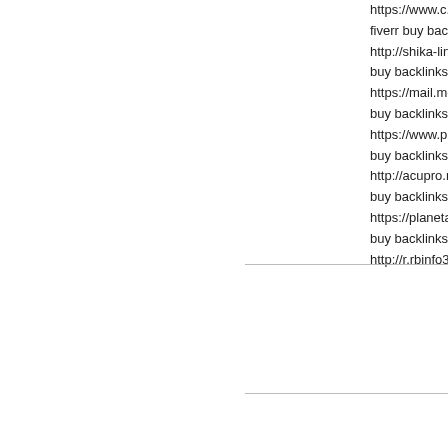https://www.c...
fiverr buy backl...
http://shika-lin...
buy backlinks 9...
https://mail.m-...
buy backlinks b...
https://www.p...
buy backlinks z...
http://acupro.r...
buy backlinks 4...
https://planeta...
buy backlinks b...
http://r.rbinfo3...